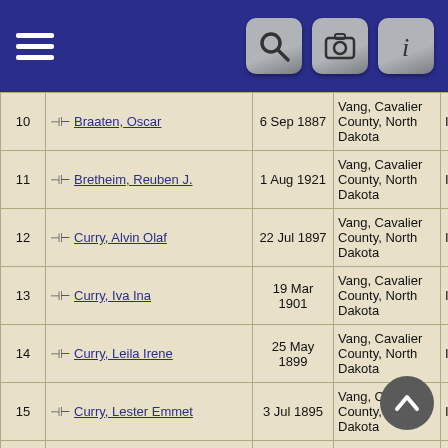| # | Name | Date | Place | ID |
| --- | --- | --- | --- | --- |
| 10 | Braaten, Oscar | 6 Sep 1887 | Vang, Cavalier County, North Dakota | I01258 |
| 11 | Bretheim, Reuben J. | 1 Aug 1921 | Vang, Cavalier County, North Dakota | I35999 |
| 12 | Curry, Alvin Olaf | 22 Jul 1897 | Vang, Cavalier County, North Dakota | I01045 |
| 13 | Curry, Iva Ina | 19 Mar 1901 | Vang, Cavalier County, North Dakota | I01043 |
| 14 | Curry, Leila Irene | 25 May 1899 | Vang, Cavalier County, North Dakota | I01044 |
| 15 | Curry, Lester Emmet | 3 Jul 1895 | Vang, Cavalier County, North Dakota | I01050 |
| 16 |  | 25 | Vang, |  |